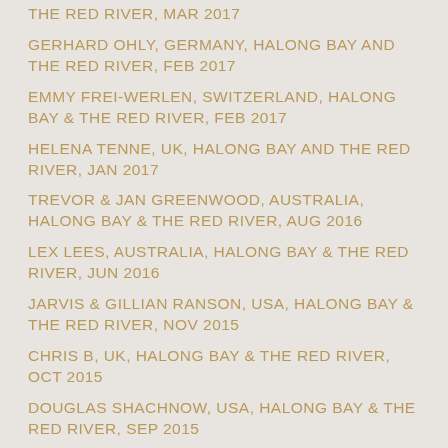THE RED RIVER, MAR 2017
GERHARD OHLY, GERMANY, HALONG BAY AND THE RED RIVER, FEB 2017
EMMY FREI-WERLEN, SWITZERLAND, HALONG BAY & THE RED RIVER, FEB 2017
HELENA TENNE, UK, HALONG BAY AND THE RED RIVER, JAN 2017
TREVOR & JAN GREENWOOD, AUSTRALIA, HALONG BAY & THE RED RIVER, AUG 2016
LEX LEES, AUSTRALIA, HALONG BAY & THE RED RIVER, JUN 2016
JARVIS & GILLIAN RANSON, USA, HALONG BAY & THE RED RIVER, NOV 2015
CHRIS B, UK, HALONG BAY & THE RED RIVER, OCT 2015
DOUGLAS SHACHNOW, USA, HALONG BAY & THE RED RIVER, SEP 2015
DONALD HUSE, USA, HALONG BAY & THE RED RIVER,